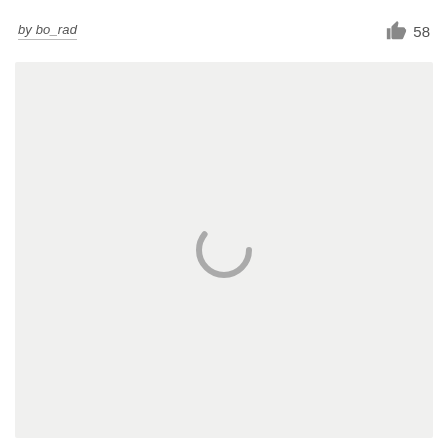by bo_rad
58
[Figure (illustration): A light gray rectangular content area with a gray loading spinner (partial circle arc) centered within it, indicating content is still loading.]